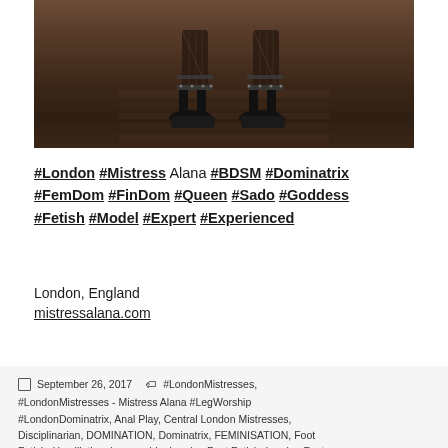[Figure (photo): Close-up photo of feet wearing fishnet stockings and black platform high-heeled sandals on a dark wooden floor]
#London #Mistress Alana #BDSM #Dominatrix #FemDom #FinDom #Queen #Sado #Goddess #Fetish #Model #Expert #Experienced
London, England
mistressalana.com
September 26, 2017  #LondonMistresses, #LondonMistresses - Mistress Alana #LegWorship #LondonDominatrix, Anal Play, Central London Mistresses, Disciplinarian, DOMINATION, Dominatrix, FEMINISATION, Foot Fetish, Humiliation, leg worship, London Foot Fetish, London Foot